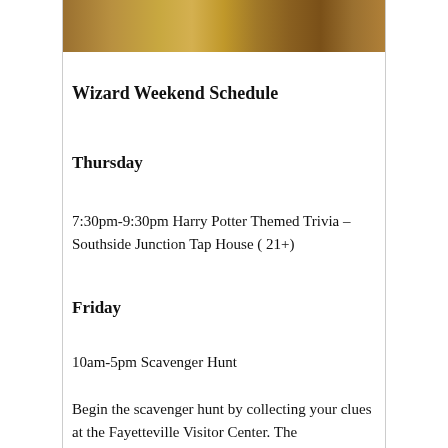[Figure (photo): Partial image at top showing a fantasy/wizard themed illustration with warm golden and brown tones]
Wizard Weekend Schedule
Thursday
7:30pm-9:30pm Harry Potter Themed Trivia – Southside Junction Tap House ( 21+)
Friday
10am-5pm Scavenger Hunt
Begin the scavenger hunt by collecting your clues at the Fayetteville Visitor Center. The